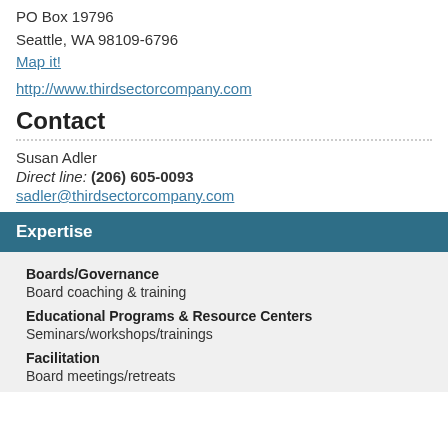PO Box 19796
Seattle, WA 98109-6796
Map it!
http://www.thirdsectorcompany.com
Contact
Susan Adler
Direct line: (206) 605-0093
sadler@thirdsectorcompany.com
Expertise
Boards/Governance
Board coaching & training
Educational Programs & Resource Centers
Seminars/workshops/trainings
Facilitation
Board meetings/retreats